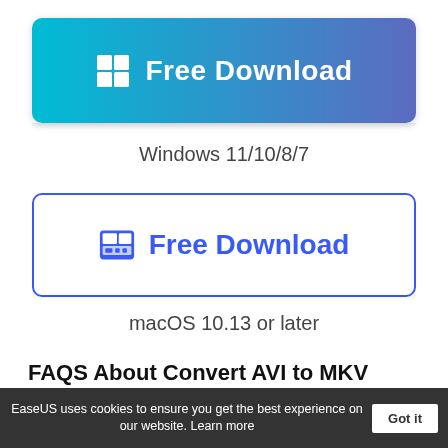[Figure (other): Windows Free Download button with gradient background (cyan to indigo), Windows logo icon on left, white bold text 'Free Download']
Windows 11/10/8/7
[Figure (other): Mac Free Download button with white background, blue border, Mac/Finder icon on left, blue bold text 'Free Download']
macOS 10.13 or later
FAQS About Convert AVI to MKV
There are some questions about converting AVI to MKV. If you want to know more, you can keep on reading.
EaseUS uses cookies to ensure you get the best experience on our website.  Learn more  Got it